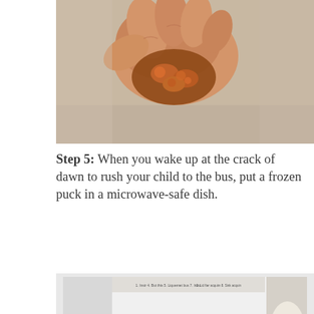[Figure (photo): A hand holding a frozen food puck showing sausage/meat pieces close up]
Step 5: When you wake up at the crack of dawn to rush your child to the bus, put a frozen puck in a microwave-safe dish.
[Figure (photo): Interior of a microwave oven with a glass bowl containing a frozen food puck on the turntable]